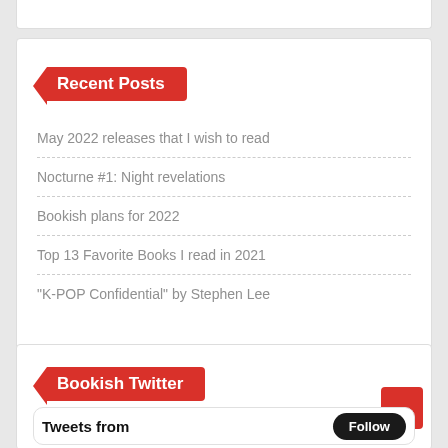Recent Posts
May 2022 releases that I wish to read
Nocturne #1: Night revelations
Bookish plans for 2022
Top 13 Favorite Books I read in 2021
“K-POP Confidential” by Stephen Lee
Bookish Twitter
Tweets from
Follow